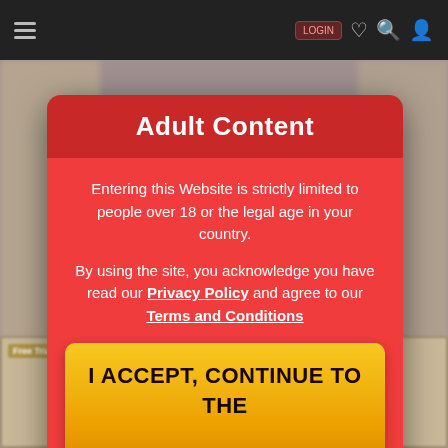[Figure (screenshot): Website top navigation bar with hamburger menu on left and icons on right (heart, search, user) on dark background]
[Figure (screenshot): Blurred background website content with thumbnail images]
Adult Content
Entering this Website is strictly limited to people over 18 or the legal age in your country.
By using the site, you acknowledge you have read our Privacy Policy and agree to our Terms and Conditions
I ACCEPT, CONTINUE TO THE WEBSITE